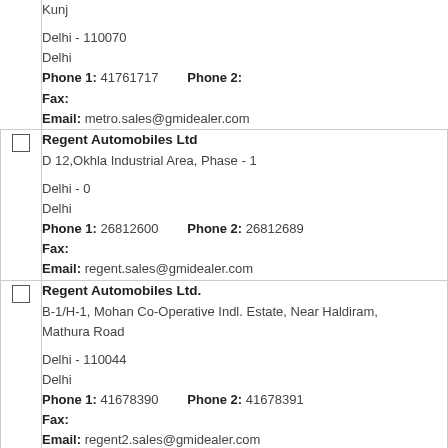| [checkbox] | Kunj

Delhi - 110070
Delhi
Phone 1: 41761717   Phone 2:
Fax:
Email: metro.sales@gmidealer.com |
| [checkbox] | Regent Automobiles Ltd
D 12,Okhla Industrial Area, Phase - 1

Delhi - 0
Delhi
Phone 1: 26812600   Phone 2: 26812689
Fax:
Email: regent.sales@gmidealer.com |
| [checkbox] | Regent Automobiles Ltd.
B-1/H-1, Mohan Co-Operative Indl. Estate, Near Haldiram, Mathura Road

Delhi - 110044
Delhi
Phone 1: 41678390   Phone 2: 41678391
Fax:
Email: regent2.sales@gmidealer.com |
| [checkbox] | Shiva Motors
E 366,Nirman Vihar, Main Vikas Marg

Delhi - 0 |